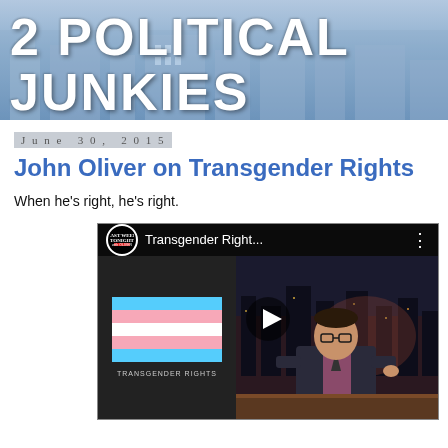[Figure (photo): 2 Political Junkies blog banner header with large white bold text '2 POLITICAL JUNKIES' over a blue government-building background]
June 30, 2015
John Oliver on Transgender Rights
When he's right, he's right.
[Figure (screenshot): YouTube video thumbnail for 'Last Week Tonight' - 'Transgender Right...' featuring John Oliver at his desk and the transgender pride flag with text 'TRANSGENDER RIGHTS'. A play button is centered over the video.]